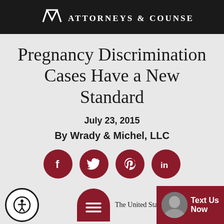ATTORNEYS & COUNSELORS
Pregnancy Discrimination Cases Have a New Standard
July 23, 2015
By Wrady & Michel, LLC
[Figure (other): Social media share buttons: Facebook, Twitter, Pinterest, LinkedIn — dark red circular icons with white symbols]
Prev Post
Next Post
The United States Su Court very r...